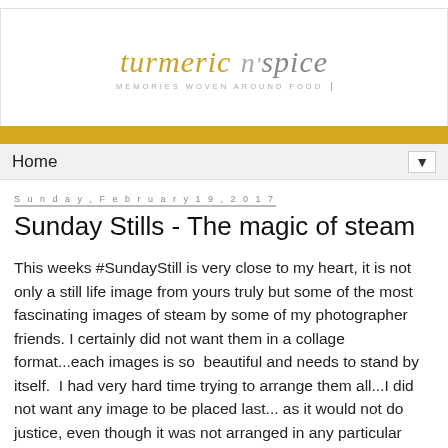[Figure (logo): turmeric n'spice logo with tagline MEMORIES WOVEN AROUND FOOD]
Home ▼
Sunday, February 19, 2017
Sunday Stills - The magic of steam
This weeks #SundayStill is very close to my heart, it is not only a still life image from yours truly but some of the most fascinating images of steam by some of my photographer friends. I certainly did not want them in a collage format...each images is so  beautiful and needs to stand by itself.  I had very hard time trying to arrange them all...I did not want any image to be placed last... as it would not do justice, even though it was not arranged in any particular order. So, I posted mine last.